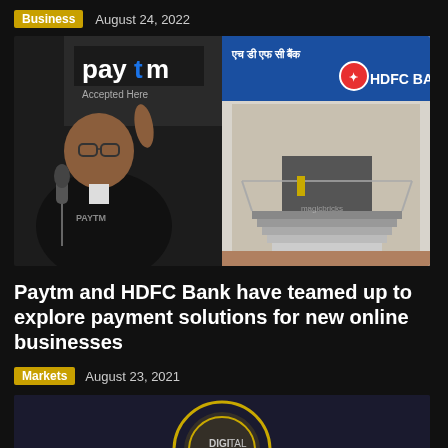Business  August 24, 2022
[Figure (photo): Left: Man speaking into microphone wearing Paytm jacket, Paytm logo banner behind. Right: HDFC Bank branch exterior with Hindi and English signage.]
Paytm and HDFC Bank have teamed up to explore payment solutions for new online businesses
Markets  August 23, 2021
[Figure (photo): Partial circular emblem or coin image at bottom, partially visible.]